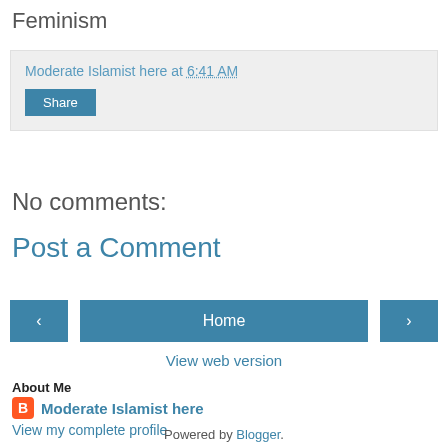Feminism
Moderate Islamist here at 6:41 AM
Share
No comments:
Post a Comment
‹  Home  ›
View web version
About Me
Moderate Islamist here
View my complete profile
Powered by Blogger.